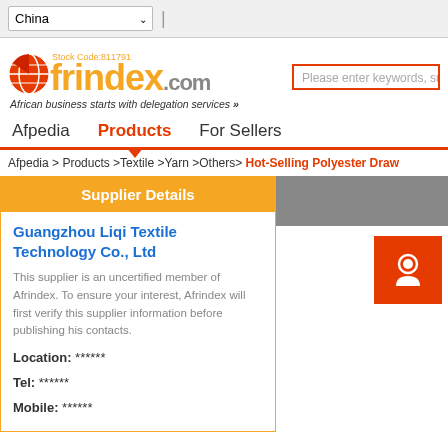China [dropdown] |
[Figure (logo): Afrindex.com logo with globe icon, Stock Code:811791, tagline: African business starts with delegation services >>]
Please enter keywords, su...
Afpedia | Products | For Sellers
Afpedia > Products >Textile >Yarn >Others> Hot-Selling Polyester Draw...
Supplier Details
Guangzhou Liqi Textile Technology Co., Ltd
This supplier is an uncertified member of Afrindex. To ensure your interest, Afrindex will first verify this supplier information before publishing his contacts.
Location: ******
Tel: ******
Mobile: ******